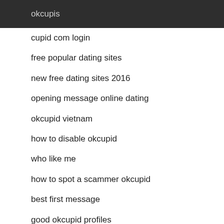okcupis
cupid com login
free popular dating sites
new free dating sites 2016
opening message online dating
okcupid vietnam
how to disable okcupid
who like me
how to spot a scammer okcupid
best first message
good okcupid profiles
cupiddating